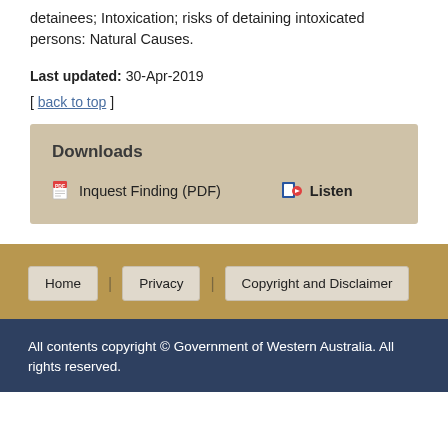detainees; Intoxication; risks of detaining intoxicated persons: Natural Causes.
Last updated: 30-Apr-2019
[ back to top ]
Downloads
Inquest Finding (PDF)   Listen
Home | Privacy | Copyright and Disclaimer
All contents copyright © Government of Western Australia. All rights reserved.